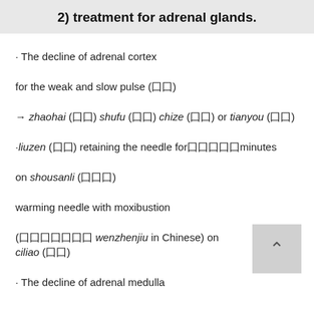2) treatment for adrenal glands.
· The decline of adrenal cortex
for the weak and slow pulse (囗囗)
→ zhaohai (囗囗) shufu (囗囗) chize (囗囗) or tianyou (囗囗)
·liuzen (囗囗) retaining the needle for囗囗囗囗囗minutes
on shousanli (囗囗囗)
warming needle with moxibustion
(囗囗囗囗囗囗囗 wenzhenjiu in Chinese) on ciliao (囗囗)
· The decline of adrenal medulla